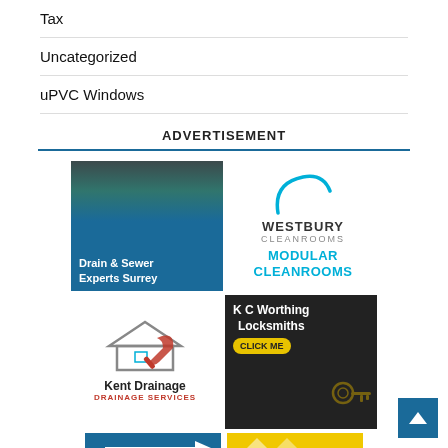Tax
Uncategorized
uPVC Windows
ADVERTISEMENT
[Figure (illustration): Drain & Sewer Experts Surrey advertisement showing a person working on drainage pipes]
[Figure (logo): Westbury Cleanrooms logo with arc and MODULAR CLEANROOMS text]
[Figure (logo): Kent Drainage - Drainage Services logo with house and wrench icon]
[Figure (illustration): K C Worthing Locksmiths advertisement with keys photo and CLICK ME button]
[Figure (illustration): Two partial advertisement images at bottom - blue and yellow]
[Figure (illustration): Back to top button (blue square with white arrow)]